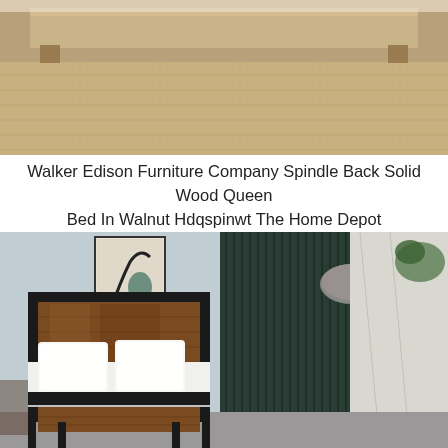[Figure (photo): Top-down/angled view of a wooden bed frame with light wood flooring visible beneath, close-up of the bed base and floor area.]
Walker Edison Furniture Company Spindle Back Solid Wood Queen Bed In Walnut Hdqspinwt The Home Depot
[Figure (photo): Industrial-style bed frame with black metal frame and rustic brown wood headboard and footboard panels, white pillows and mattress, set in a light blue bedroom with dark green slatted wall panel, abstract artwork, and pendant lamp.]